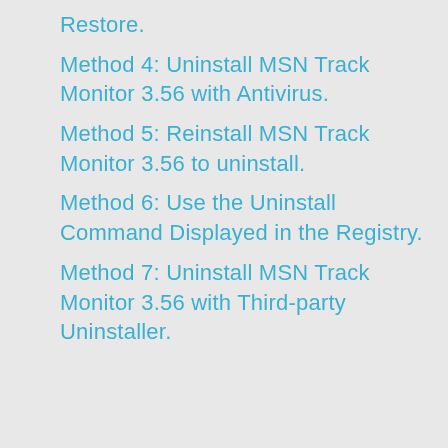Restore.
Method 4: Uninstall MSN Track Monitor 3.56 with Antivirus.
Method 5: Reinstall MSN Track Monitor 3.56 to uninstall.
Method 6: Use the Uninstall Command Displayed in the Registry.
Method 7: Uninstall MSN Track Monitor 3.56 with Third-party Uninstaller.